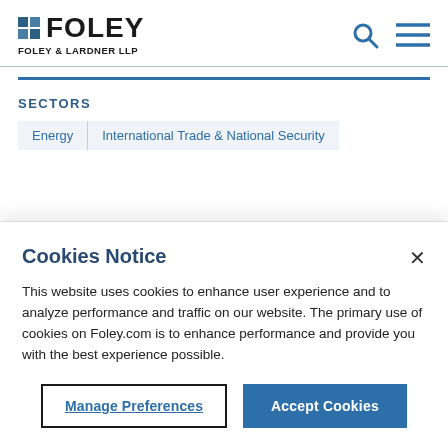[Figure (logo): Foley & Lardner LLP logo with blue grid squares and bold FOLEY text]
SECTORS
Energy
International Trade & National Security
Cookies Notice
This website uses cookies to enhance user experience and to analyze performance and traffic on our website. The primary use of cookies on Foley.com is to enhance performance and provide you with the best experience possible.
Manage Preferences
Accept Cookies